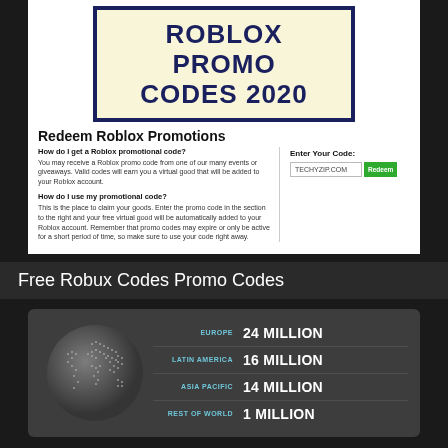ROBLOX PROMO CODES 2020
Redeem Roblox Promotions
How do I get a Roblox promotional code?
You may receive a Roblox promo code from one of our many events or giveaways. Valid codes will earn you a virtual good that will be added to your Roblox account.
How do I use my promotional code?
This is the place to claim your goods. Enter the promo code in the section to the right and your free virtual good will be automatically added to your Roblox account. Remember that promo codes may expire or only be active for a short period of time, so make sure to use your code right away.
Enter Your Code:
TECHYZIP.COM [Redeem button]
Free Robux Codes Promo Codes
[Figure (infographic): Globe graphic with regional Roblox user statistics: EUROPE 24 MILLION, LATIN AMERICA 16 MILLION, ASIA PACIFIC 14 MILLION, REST OF WORLD 1 MILLION]